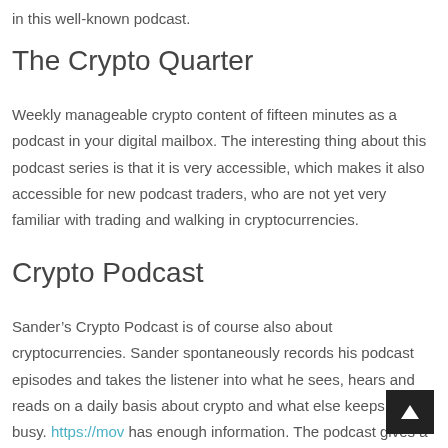in this well-known podcast.
The Crypto Quarter
Weekly manageable crypto content of fifteen minutes as a podcast in your digital mailbox. The interesting thing about this podcast series is that it is very accessible, which makes it also accessible for new podcast traders, who are not yet very familiar with trading and walking in cryptocurrencies.
Crypto Podcast
Sander’s Crypto Podcast is of course also about cryptocurrencies. Sander spontaneously records his podcast episodes and takes the listener into what he sees, hears and reads on a daily basis about crypto and what else keeps him busy. https://mov has enough information. The podcast gives a good idea to